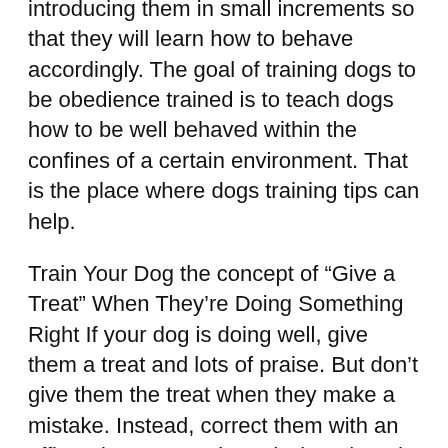introducing them in small increments so that they will learn how to behave accordingly. The goal of training dogs to be obedience trained is to teach dogs how to be well behaved within the confines of a certain environment. That is the place where dogs training tips can help.
Train Your Dog the concept of “Give a Treat” When They’re Doing Something Right If your dog is doing well, give them a treat and lots of praise. But don’t give them the treat when they make a mistake. Instead, correct them with an affirmative or a reprimand when they do something good.
If you’re wondering how to train your dog to offer a treat, the best method is through